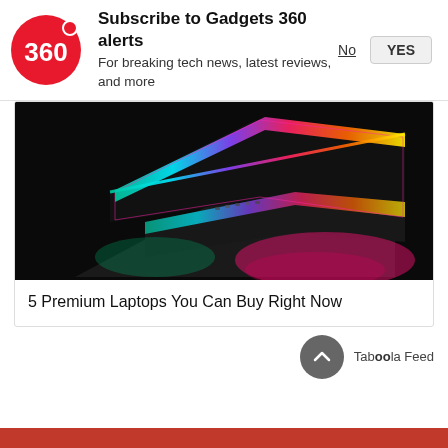Subscribe to Gadgets 360 alerts
For breaking tech news, latest reviews, and more
[Figure (photo): Colorful illuminated laptop keyboard/lid shot from a low angle against a dark background, with vibrant pink, purple, green and rainbow lighting]
5 Premium Laptops You Can Buy Right Now
[Figure (logo): Taboola Feed logo with back-to-top chevron button]